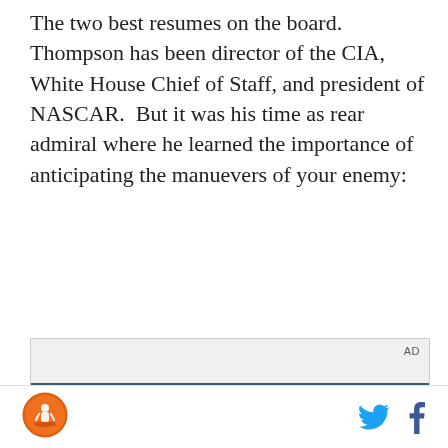The two best resumes on the board. Thompson has been director of the CIA, White House Chief of Staff, and president of NASCAR. But it was his time as rear admiral where he learned the importance of anticipating the manuevers of your enemy:
[Figure (screenshot): Advertisement video player showing a young man standing in front of a building with glass windows. Text overlay reads 'Unfold your world' with a play button. 'AD' label in top right corner.]
[Figure (logo): Orange circular logo with a person silhouette, positioned in bottom left footer. Twitter bird icon and Facebook 'f' icon in bottom right footer.]